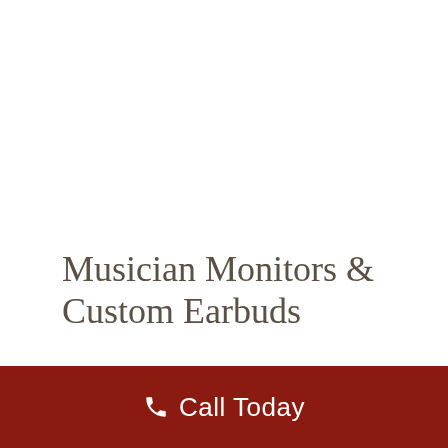Musician Monitors & Custom Earbuds
To perform your best, you need to hear your best. Stage performers are routinely exposed to hearing damage both from
Call Today